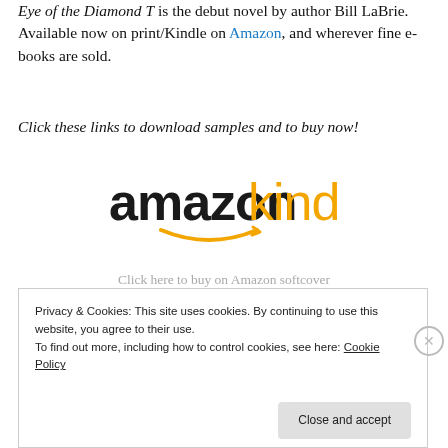Eye of the Diamond T is the debut novel by author Bill LaBrie. Available now on print/Kindle on Amazon, and wherever fine e-books are sold.
Click these links to download samples and to buy now!
[Figure (logo): Amazon Kindle logo with orange arrow/smile beneath 'amazon' text]
Click here to buy on Amazon softcover and Kindle
[Figure (illustration): Partial loading spinner / decorative asterisk dots visible at top]
Privacy & Cookies: This site uses cookies. By continuing to use this website, you agree to their use. To find out more, including how to control cookies, see here: Cookie Policy
Close and accept